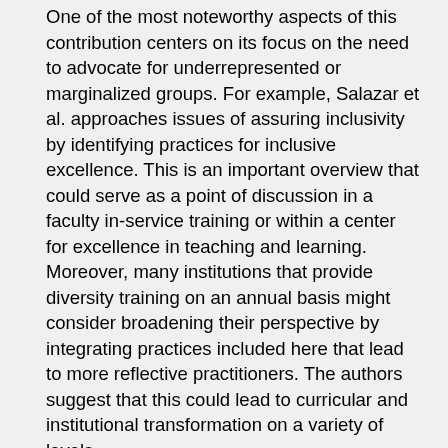One of the most noteworthy aspects of this contribution centers on its focus on the need to advocate for underrepresented or marginalized groups. For example, Salazar et al. approaches issues of assuring inclusivity by identifying practices for inclusive excellence. This is an important overview that could serve as a point of discussion in a faculty in-service training or within a center for excellence in teaching and learning. Moreover, many institutions that provide diversity training on an annual basis might consider broadening their perspective by integrating practices included here that lead to more reflective practitioners. The authors suggest that this could lead to curricular and institutional transformation on a variety of levels.
Authors Dailey-Hebert et al. share an innovative program called “The Legacy Project” that focuses on improving the campus climate and services for women. However, it doesn’t speak to the range of inclusivity for this endeavor, that is, who gains favor or entry into participation? Is this yet another exclusive club for some enfranchised in an organization?One...